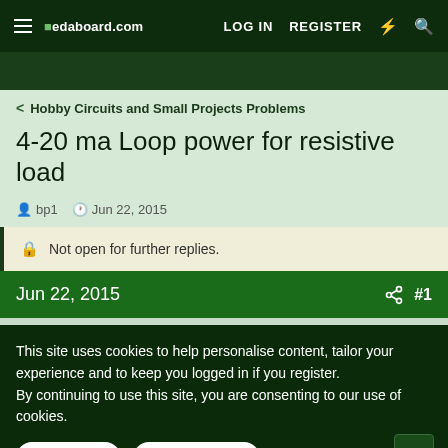edaboard.com — LOG IN  REGISTER
< Hobby Circuits and Small Projects Problems
4-20 ma Loop power for resistive load
bp1  Jun 22, 2015
Not open for further replies.
Jun 22, 2015  #1
This site uses cookies to help personalise content, tailor your experience and to keep you logged in if you register.
By continuing to use this site, you are consenting to our use of cookies.